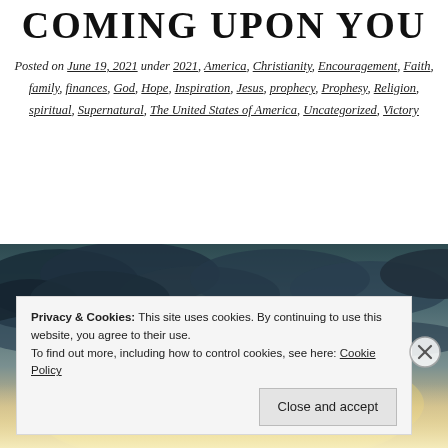COMING UPON YOU
Posted on June 19, 2021 under 2021, America, Christianity, Encouragement, Faith, family, finances, God, Hope, Inspiration, Jesus, prophecy, Prophesy, Religion, spiritual, Supernatural, The United States of America, Uncategorized, Victory
[Figure (photo): Dramatic sky with dark storm clouds and warm light on the horizon, suggesting a storm or supernatural atmosphere.]
Privacy & Cookies: This site uses cookies. By continuing to use this website, you agree to their use. To find out more, including how to control cookies, see here: Cookie Policy